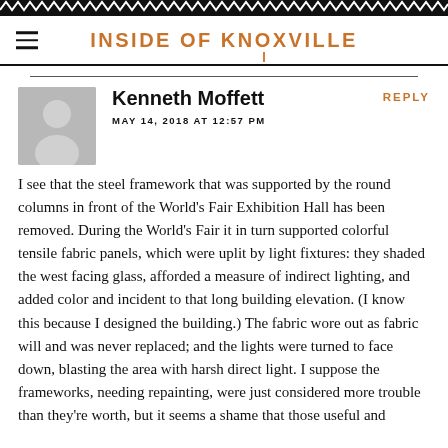INSIDE OF KNOXVILLE
Kenneth Moffett
MAY 14, 2018 AT 12:57 PM
I see that the steel framework that was supported by the round columns in front of the World's Fair Exhibition Hall has been removed. During the World's Fair it in turn supported colorful tensile fabric panels, which were uplit by light fixtures: they shaded the west facing glass, afforded a measure of indirect lighting, and added color and incident to that long building elevation. (I know this because I designed the building.) The fabric wore out as fabric will and was never replaced; and the lights were turned to face down, blasting the area with harsh direct light. I suppose the frameworks, needing repainting, were just considered more trouble than they're worth, but it seems a shame that those useful and